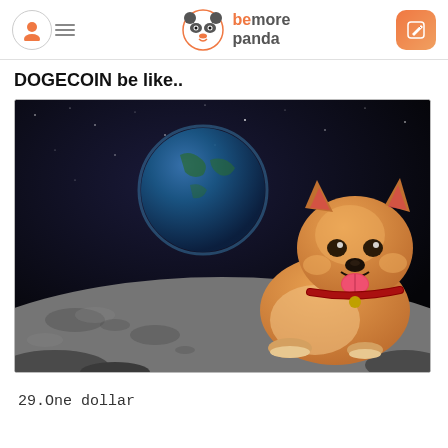bemore panda
DOGECOIN be like..
[Figure (photo): Shiba Inu dog sitting on the moon surface with Earth visible in the dark starry sky background — a Dogecoin meme image]
29.One dollar